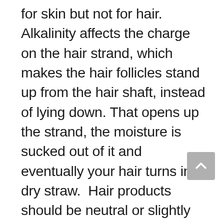for skin but not for hair.  Alkalinity affects the charge on the hair strand, which makes the hair follicles stand up from the hair shaft, instead of lying down. That opens up the strand, the moisture is sucked out of it and eventually your hair turns into dry straw.  Hair products should be neutral or slightly acidic.  If you're being told you can rinse your hair with vinegar, beware!  This is in an effort to neutralise the pH of your hair after using soap (I tried this too - didn't work for me).  Depending on your water hardness, washing your hair with soap could leave you with a head full of soap scum. The soap attaches to the minerals in your water and can leave them in your hair, which doesn't make for a